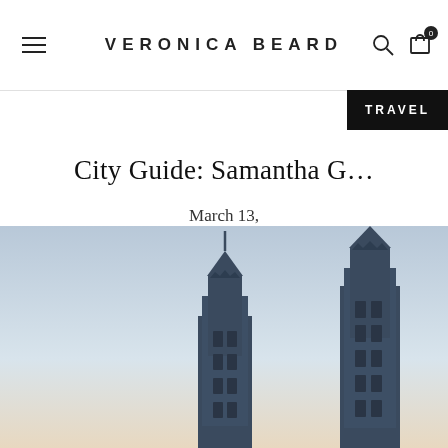VERONICA BEARD
TRAVEL
City Guide: Samantha G…
March 13,
[Figure (photo): Two tall Art Deco skyscraper tops with pointed spires photographed at dusk against a pale blue-gray sky — likely Philadelphia's Liberty Place towers]